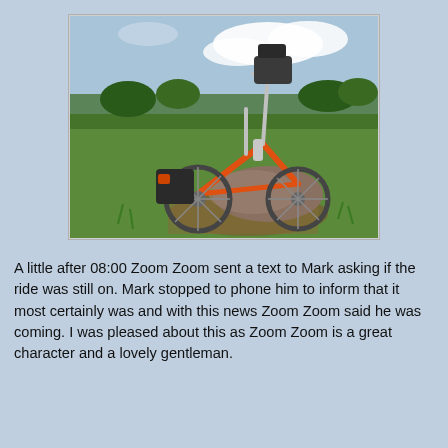[Figure (photo): An orange folding bicycle (Brompton-style) leaning against a rock in a grassy field, with panniers and accessories attached. Cloudy sky in background with green hedgerows and trees.]
A little after 08:00 Zoom Zoom sent a text to Mark asking if the ride was still on. Mark stopped to phone him to inform that it most certainly was and with this news Zoom Zoom said he was coming. I was pleased about this as Zoom Zoom is a great character and a lovely gentleman.